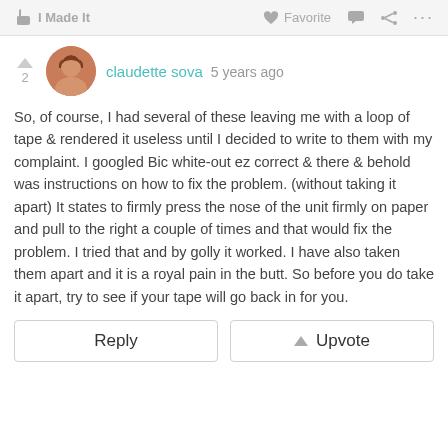I Made It   Favorite   ...
claudette sova 5 years ago
So, of course, I had several of these leaving me with a loop of tape & rendered it useless until I decided to write to them with my complaint. I googled Bic white-out ez correct & there & behold was instructions on how to fix the problem. (without taking it apart) It states to firmly press the nose of the unit firmly on paper and pull to the right a couple of times and that would fix the problem. I tried that and by golly it worked. I have also taken them apart and it is a royal pain in the butt. So before you do take it apart, try to see if your tape will go back in for you.
Reply   Upvote